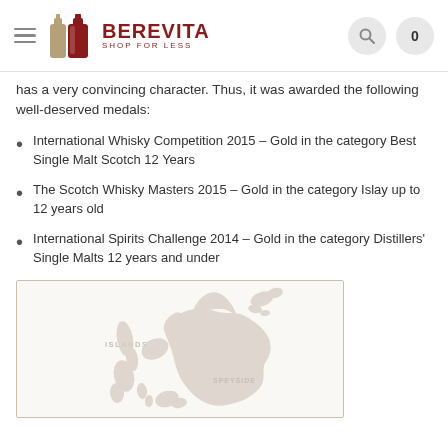BEREVITA SHOP FOR LESS
has a very convincing character. Thus, it was awarded the following well-deserved medals:
International Whisky Competition 2015 – Gold in the category Best Single Malt Scotch 12 Years
The Scotch Whisky Masters 2015 – Gold in the category Islay up to 12 years old
International Spirits Challenge 2014 – Gold in the category Distillers' Single Malts 12 years and under
[Figure (map): Scotland's Whisky Regions map showing ISLANDS label and grey silhouette of Scotland with 'SPEYSIDE' label visible in the lower right area]